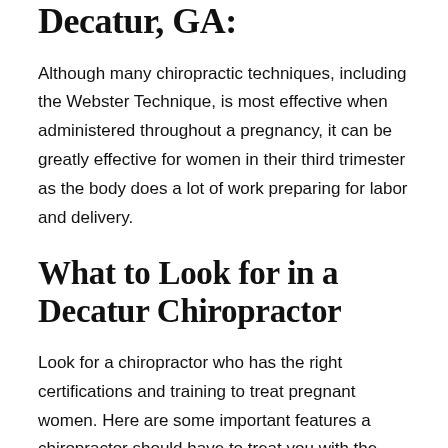Decatur, GA:
Although many chiropractic techniques, including the Webster Technique, is most effective when administered throughout a pregnancy, it can be greatly effective for women in their third trimester as the body does a lot of work preparing for labor and delivery.
What to Look for in a Decatur Chiropractor
Look for a chiropractor who has the right certifications and training to treat pregnant women. Here are some important features a chiropractor should have to treat you with the highest level of care possible:
Specialized training in treating pregnant women.